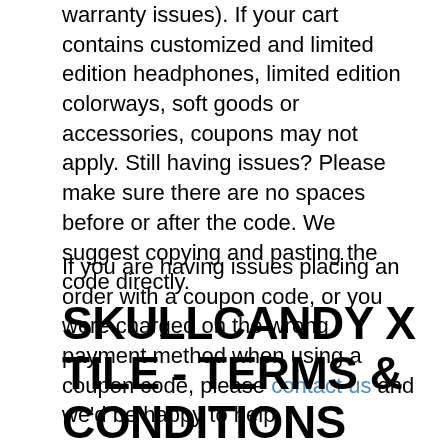warranty issues). If your cart contains customized and limited edition headphones, limited edition colorways, soft goods or accessories, coupons may not apply. Still having issues? Please make sure there are no spaces before or after the code. We suggest copying and pasting the code directly.
If you are having issues placing an order with a coupon code, or you were charged on the wrong payment method when using a coupon code, please contact us and we'd be happy to help.
SKULLCANDY X TILE - TERMS & CONDITIONS